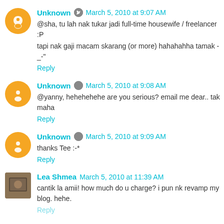Unknown  March 5, 2010 at 9:07 AM
@sha, tu lah nak tukar jadi full-time housewife / freelancer :P
tapi nak gaji macam skarang (or more) hahahahha tamak -_-"
Reply
Unknown  March 5, 2010 at 9:08 AM
@yanny, hehehehehe are you serious? email me dear.. tak maha
Reply
Unknown  March 5, 2010 at 9:09 AM
thanks Tee :-*
Reply
Lea Shmea  March 5, 2010 at 11:39 AM
cantik la amii! how much do u charge? i pun nk revamp my blog. hehe.
Reply